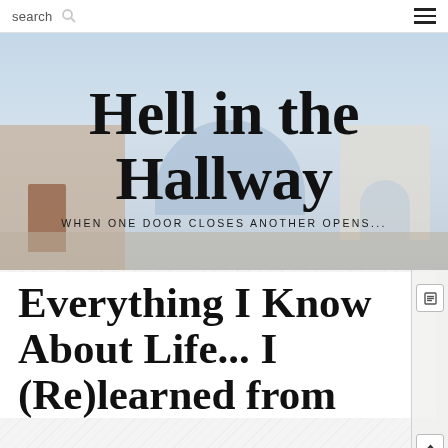search  ☰
[Figure (photo): Background photo of white-and-blue Mediterranean-style buildings (Santorini) with a dome and arched gateway, light blue sky. Overlaid with blog title text.]
Hell in the Hallway
WHEN ONE DOOR CLOSES ANOTHER OPENS...
Everything I Know About Life... I (Re)learned from